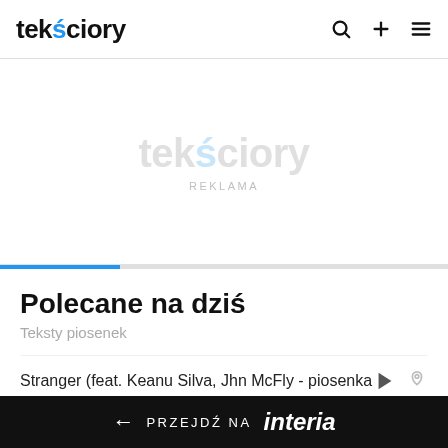tekściory
[Figure (other): Advertisement placeholder area with watermark tekściory logo and REKLAMA label]
Polecane na dziś
Teksty piosenek
Stranger (feat. Keanu Silva, Jhn McFly - piosenka
← PRZEJDŹ NA interia